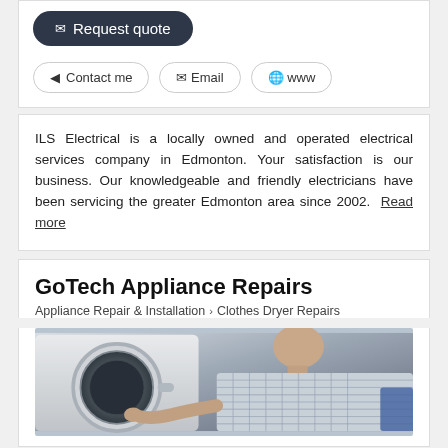Request quote
Contact me | Email | www
ILS Electrical is a locally owned and operated electrical services company in Edmonton. Your satisfaction is our business. Our knowledgeable and friendly electricians have been servicing the greater Edmonton area since 2002. Read more
GoTech Appliance Repairs
Appliance Repair & Installation > Clothes Dryer Repairs
[Figure (photo): Technician in plaid shirt bending over and working on the drum of a front-loading washing machine or dryer]